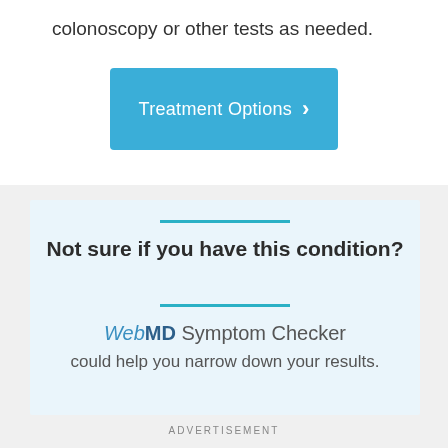colonoscopy or other tests as needed.
[Figure (other): Blue button labeled 'Treatment Options' with a right chevron arrow]
Not sure if you have this condition?
WebMD Symptom Checker could help you narrow down your results.
ADVERTISEMENT